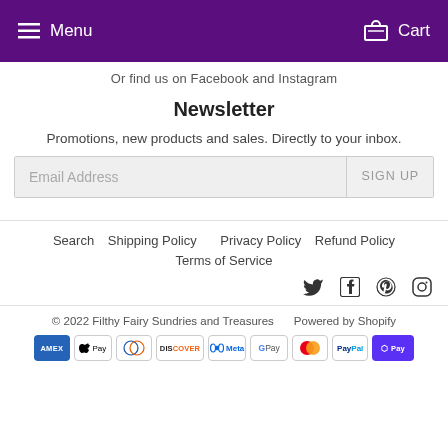Menu  Cart
Or find us on Facebook and Instagram
Newsletter
Promotions, new products and sales. Directly to your inbox.
Email Address  SIGN UP
Search  Shipping Policy  Privacy Policy  Refund Policy
Terms of Service
[Figure (other): Social media icons: Twitter, Facebook, Pinterest, Instagram]
© 2022 Filthy Fairy Sundries and Treasures  Powered by Shopify
[Figure (other): Payment method icons: Amex, Apple Pay, Diners, Discover, Meta, Google Pay, Mastercard, PayPal, Shop Pay]